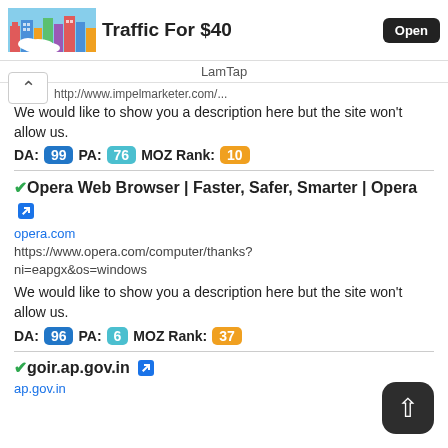Traffic For $40 | LamTap | Open
http://www.impelmarketer.com/...
We would like to show you a description here but the site won't allow us.
DA: 99 PA: 76 MOZ Rank: 10
✔Opera Web Browser | Faster, Safer, Smarter | Opera 🔗
opera.com
https://www.opera.com/computer/thanks?ni=eapgx&os=windows
We would like to show you a description here but the site won't allow us.
DA: 96 PA: 6 MOZ Rank: 37
✔goir.ap.gov.in 🔗
ap.gov.in